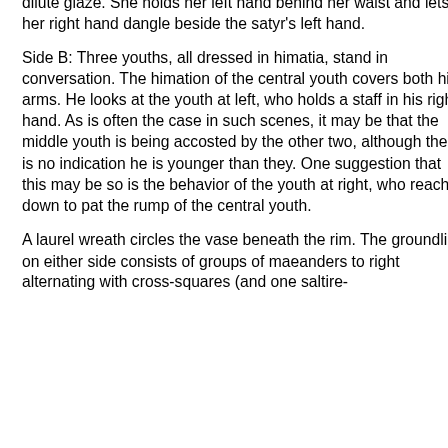dilute glaze. She holds her left hand behind her waist and lets her right hand dangle beside the satyr's left hand.
Side B: Three youths, all dressed in himatia, stand in conversation. The himation of the central youth covers both his arms. He looks at the youth at left, who holds a staff in his right hand. As is often the case in such scenes, it may be that the middle youth is being accosted by the other two, although there is no indication he is younger than they. One suggestion that this may be so is the behavior of the youth at right, who reaches down to pat the rump of the central youth.
A laurel wreath circles the vase beneath the rim. The groundline on either side consists of groups of maeanders to right alternating with cross-squares (and one saltire-